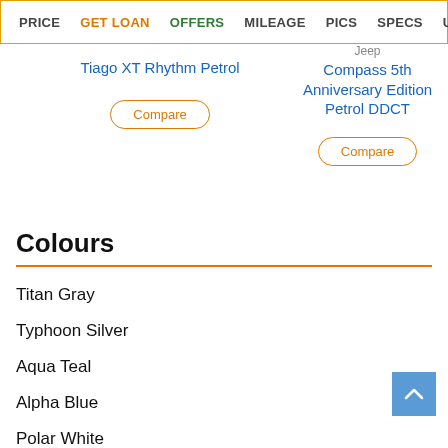PRICE  GET LOAN  OFFERS  MILEAGE  PICS  SPECS  USER RE
Tiago XT Rhythm Petrol
Jeep
Compass 5th Anniversary Edition Petrol DDCT
Compare
Compare
Colours
Titan Gray
Typhoon Silver
Aqua Teal
Alpha Blue
Polar White
Fiery Red